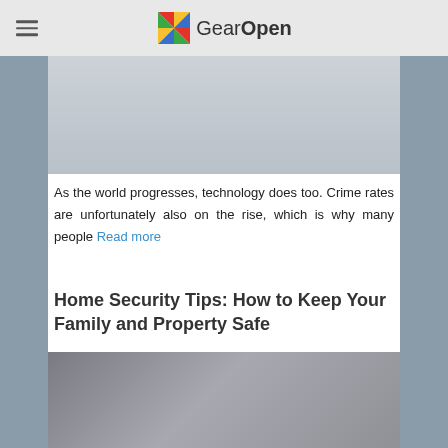GearOpen
[Figure (photo): Top-down view of a security camera mounted on a light surface]
As the world progresses, technology does too. Crime rates are unfortunately also on the rise, which is why many people Read more
Home Security Tips: How to Keep Your Family and Property Safe
[Figure (photo): Close-up of a door handle and electronic lock/keypad on a wooden door]